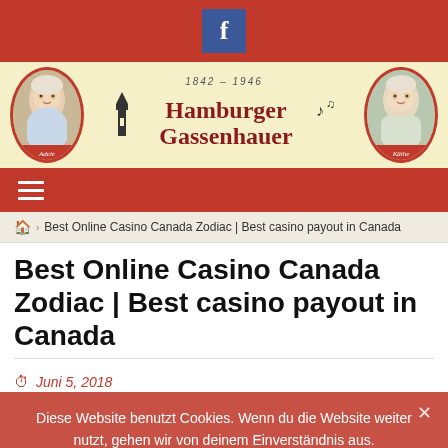Hamburger Gassenhauer — Facebook bar and site header
Best Online Casino Canada Zodiac | Best casino payout in Canada
Juni 5, 2018
Diese Website benutzt Cookies. Wenn du die Website weiter nutzt, gehen wir von deinem Einverständnis aus.
Best bitcoin online casinos 2020